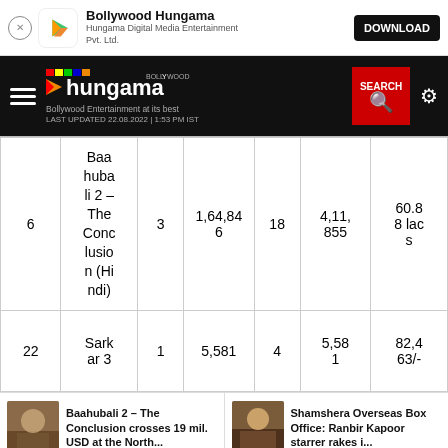[Figure (screenshot): App download banner for Bollywood Hungama by Hungama Digital Media Entertainment Pvt. Ltd. with DOWNLOAD button]
[Figure (screenshot): Bollywood Hungama website navigation bar with hamburger menu, logo, SEARCH button, and settings gear icon. Shows LAST UPDATED 22.08.2022 | 1:53 PM IST]
|  |  |  |  |  |  |  |
| --- | --- | --- | --- | --- | --- | --- |
| 6 | Baahubali 2 – The Conclusion (Hindi) | 3 | 1,64,846 | 18 | 4,11,855 | 60.88 lacs |
| 22 | Sarkar 3 | 1 | 5,581 | 4 | 5,581 | 82,463/- |
Baahubali 2 – The Conclusion crosses 19 mil. USD at the North...
Shamshera Overseas Box Office: Ranbir Kapoor starrer rakes i...